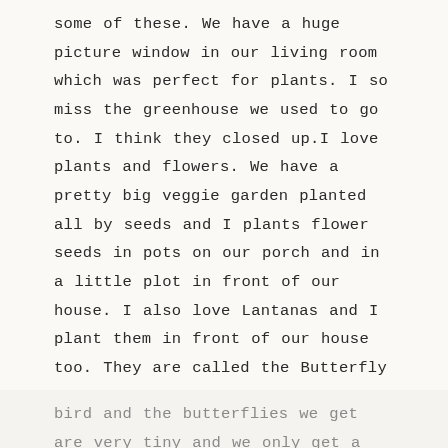some of these. We have a huge picture window in our living room which was perfect for plants. I so miss the greenhouse we used to go to. I think they closed up.I love plants and flowers. We have a pretty big veggie garden planted all by seeds and I plants flower seeds in pots on our porch and in a little plot in front of our house. I also love Lantanas and I plant them in front of our house too. They are called the Butterfly Flower and they are supposed to also attract hummingbirds. Never had a humming
bird and the butterflies we get are very tiny and we only get a few. They